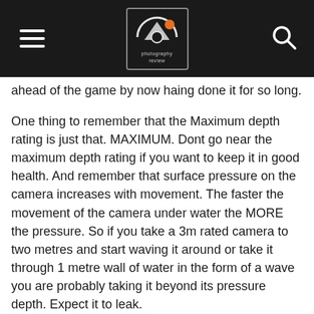Photography Review
ahead of the game by now haing done it for so long.
One thing to remember that the Maximum depth rating is just that. MAXIMUM. Dont go near the maximum depth rating if you want to keep it in good health. And remember that surface pressure on the camera increases with movement. The faster the movement of the camera under water the MORE the pressure. So if you take a 3m rated camera to two metres and start waving it around or take it through 1 metre wall of water in the form of a wave you are probably taking it beyond its pressure depth. Expect it to leak.
Yes my Olympus 720Sw leaked and stopped working after 2 years but i'm buying another!
Hope this helps,
I got some incredbile shots that still make me go “wow”! and video to boot.